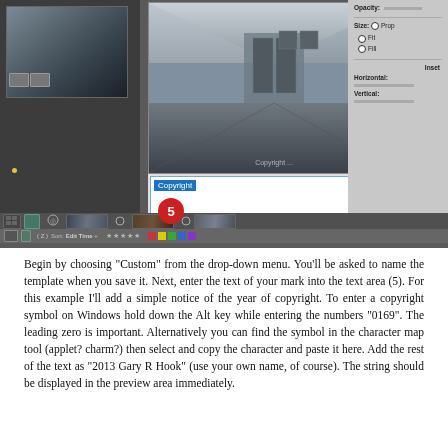[Figure (screenshot): Screenshot of Adobe Lightroom or similar photo editing software showing a corridor/hallway photograph with a watermark text input area labeled 'Copyright' highlighted in blue, a red circle badge with number 5, filmstrip at bottom, and right panel with Opacity/Size/Inset controls.]
Begin by choosing "Custom" from the drop-down menu.  You'll be asked to name the template when you save it.  Next, enter the text of your mark into the text area (5).  For this example I'll add a simple notice of the year of copyright.  To enter a copyright symbol on Windows hold down the Alt key while entering the numbers "0169".  The leading zero is important. Alternatively you can find the symbol in the character map tool (applet? charm?) then select and copy the character and paste it here.  Add the rest of the text as "2013 Gary R Hook" (use your own name, of course).  The string should be displayed in the preview area immediately.